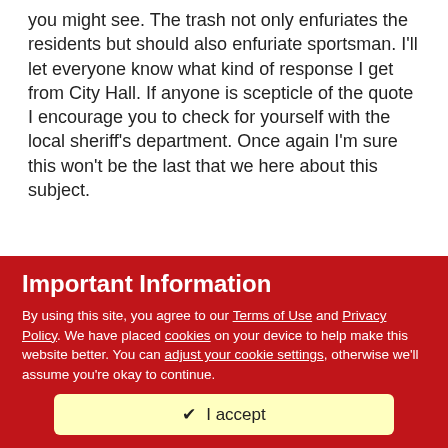you might see. The trash not only enfuriates the residents but should also enfuriate sportsman. I'll let everyone know what kind of response I get from City Hall. If anyone is scepticle of the quote I encourage you to check for yourself with the local sheriff's department. Once again I'm sure this won't be the last that we here about this subject.
carlcmc
Posted January 25, 2006
I'd love to go and fish it sometime. Either take a float out or just
Important Information
By using this site, you agree to our Terms of Use and Privacy Policy. We have placed cookies on your device to help make this website better. You can adjust your cookie settings, otherwise we'll assume you're okay to continue.
✔  I accept